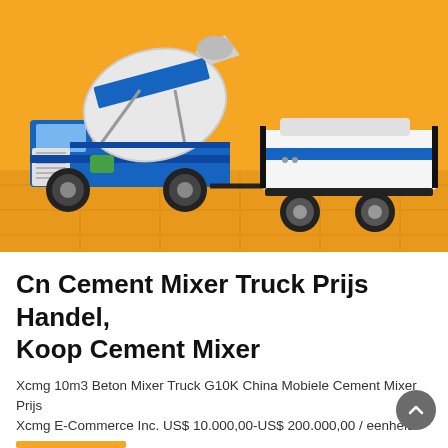[Figure (photo): A blue and white cement mixer truck and a concrete pump trailer side by side on a yellow/orange tiled floor with yellow background. The mixer has a large rotating drum. Both vehicles are blue and white with industrial equipment details.]
Cn Cement Mixer Truck Prijs Handel, Koop Cement Mixer
Xcmg 10m3 Beton Mixer Truck G10K China Mobiele Cement Mixer Prijs Xcmg E-Commerce Inc. US$ 10.000,00-US$ 200.000,00 / eenheid